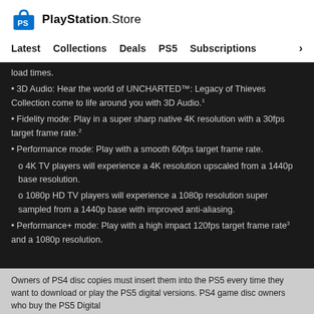[Figure (logo): PlayStation Store logo with shopping bag icon and text]
Latest   Collections   Deals   PS5   Subscriptions  >
load times.
3D Audio: Hear the world of UNCHARTED™: Legacy of Thieves Collection come to life around you with 3D Audio.¹
Fidelity mode: Play in a super sharp native 4K resolution with a 30fps target frame rate.²
Performance mode: Play with a smooth 60fps target frame rate.
o 4K TV players will experience a 4K resolution upscaled from a 1440p base resolution.
o 1080p HD TV players will experience a 1080p resolution super sampled from a 1440p base with improved anti-aliasing.
Performance+ mode: Play with a high impact 120fps target frame rate³ and a 1080p resolution.
Owners of PS4 disc copies must insert them into the PS5 every time they want to download or play the PS5 digital versions. PS4 game disc owners who buy the PS5 Digital